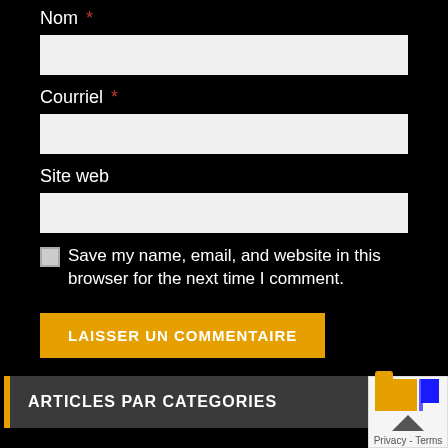Nom *
Courriel *
Site web
Save my name, email, and website in this browser for the next time I comment.
LAISSER UN COMMENTAIRE
ARTICLES PAR CATEGORIES
Actus Circuit
Autres actus Circuit
Alpine Europa Cup
[Figure (other): Back to top button with folder icon and Privacy - Terms text]